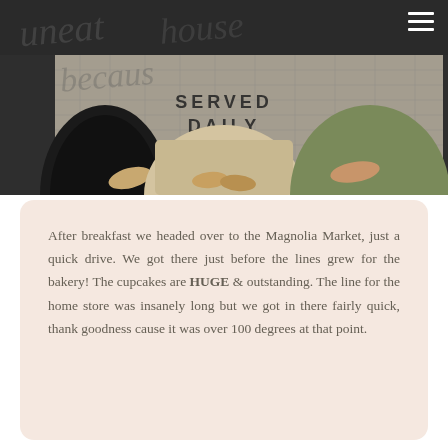[Figure (photo): Top-down photo of people's legs and feet standing on a tiled floor with text 'SERVED DAILY' visible, overlaid with a cursive script watermark logo. A hamburger menu icon is in the top-right corner.]
After breakfast we headed over to the Magnolia Market, just a quick drive. We got there just before the lines grew for the bakery! The cupcakes are HUGE & outstanding. The line for the home store was insanely long but we got in there fairly quick, thank goodness cause it was over 100 degrees at that point.